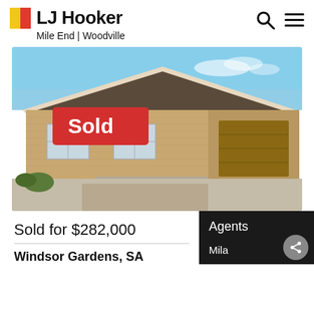[Figure (logo): LJ Hooker logo with yellow and red squares]
Mile End | Woodville
[Figure (photo): Exterior photo of a brick bungalow with garage and driveway, overlaid with a red 'Sold' banner]
Sold for $282,000
Windsor Gardens, SA
Agents
Mila